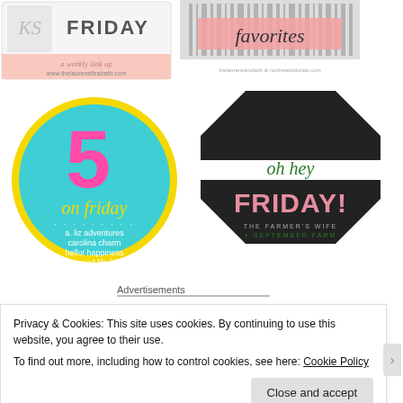[Figure (logo): Friday link-up badge for thelaurenelizabeth.com — grey/pink card with 'FRIDAY', 'a weekly link up', 'www.thelaurenelizabeth.com']
[Figure (logo): Favorites link-up badge — pink ribbon with 'favorites' script text over barcode-style graphic]
[Figure (logo): 5 on Friday badge — teal circle with yellow border, large pink '5', 'on friday' script, listing a. liz adventures, carolina charm, hello! happiness, the good life blog]
[Figure (logo): Oh hey Friday! badge — black octagon shape with white stripe, green script 'oh hey', pink bold 'FRIDAY!', 'THE FARMER'S WIFE + SEPTEMBER FARM']
Advertisements
Privacy & Cookies: This site uses cookies. By continuing to use this website, you agree to their use.
To find out more, including how to control cookies, see here: Cookie Policy
Close and accept